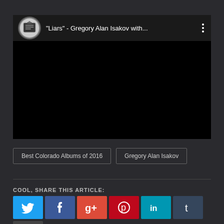[Figure (screenshot): Embedded YouTube video player showing a dark/black screen with channel icon (briefcase illustration) and title '"Liars" - Gregory Alan Isakov with...' and a three-dot menu icon]
Best Colorado Albums of 2016
Gregory Alan Isakov
COOL, SHARE THIS ARTICLE:
[Figure (infographic): Social share buttons row: Twitter (blue bird), Facebook (blue f), Google+ (orange-red g+), Pinterest (red p), LinkedIn (teal in), Tumblr (dark t)]
[Figure (infographic): Email share button (envelope icon, dark grey background)]